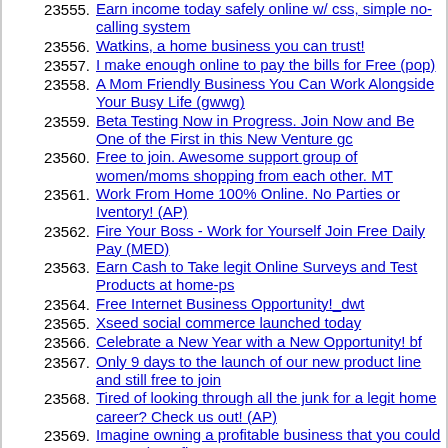23555. Earn income today safely online w/ css, simple no-calling system
23556. Watkins, a home business you can trust!
23557. I make enough online to pay the bills for Free (pop)
23558. A Mom Friendly Business You Can Work Alongside Your Busy Life (gwwg)
23559. Beta Testing Now in Progress. Join Now and Be One of the First in this New Venture gc
23560. Free to join. Awesome support group of women/moms shopping from each other. MT
23561. Work From Home 100% Online. No Parties or Iventory! (AP)
23562. Fire Your Boss - Work for Yourself Join Free Daily Pay (MED)
23563. Earn Cash to Take legit Online Surveys and Test Products at home-ps
23564. Free Internet Business Opportunity!_dwt
23565. Xseed social commerce launched today
23566. Celebrate a New Year with a New Opportunity! bf
23567. Only 9 days to the launch of our new product line and still free to join
23568. Tired of looking through all the junk for a legit home career? Check us out! (AP)
23569. Imagine owning a profitable business that you could start today. sfi
23570. Tonight launch...